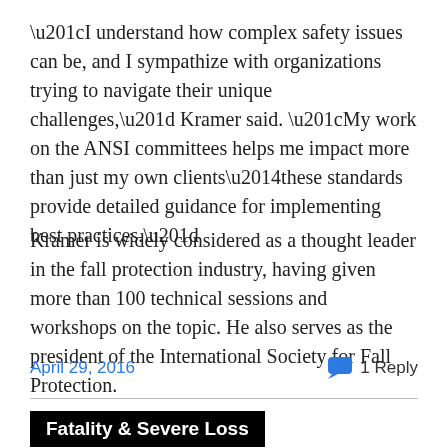“I understand how complex safety issues can be, and I sympathize with organizations trying to navigate their unique challenges,” Kramer said. “My work on the ANSI committees helps me impact more than just my own clients—these standards provide detailed guidance for implementing best practices.”
Kramer is widely considered as a thought leader in the fall protection industry, having given more than 100 technical sessions and workshops on the topic. He also serves as the president of the International Society for Fall Protection.
April 29, 2016
1 Reply
Fatality & Severe Loss